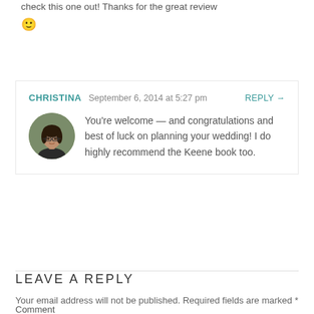check this one out! Thanks for the great review 🙂
CHRISTINA  September 6, 2014 at 5:27 pm  REPLY →
[Figure (photo): Circular avatar photo of a woman with dark hair and glasses]
You're welcome — and congratulations and best of luck on planning your wedding! I do highly recommend the Keene book too.
LEAVE A REPLY
Your email address will not be published. Required fields are marked *
Comment